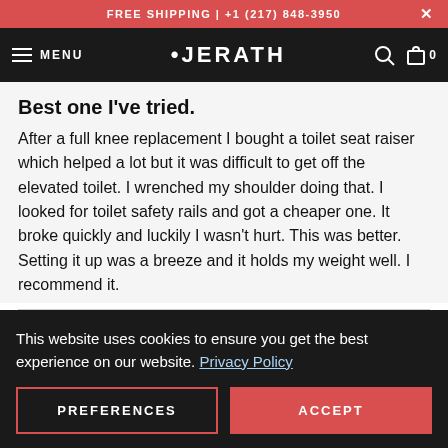FREE SHIPPING | +1 (217) 848-3950
JERATH — MENU
Best one I've tried.
After a full knee replacement I bought a toilet seat raiser which helped a lot but it was difficult to get off the elevated toilet. I wrenched my shoulder doing that. I looked for toilet safety rails and got a cheaper one. It broke quickly and luckily I wasn't hurt. This was better. Setting it up was a breeze and it holds my weight well. I recommend it.
[Figure (other): Five orange star rating icons]
This website uses cookies to ensure you get the best experience on our website. Privacy Policy
PREFERENCES
ACCEPT